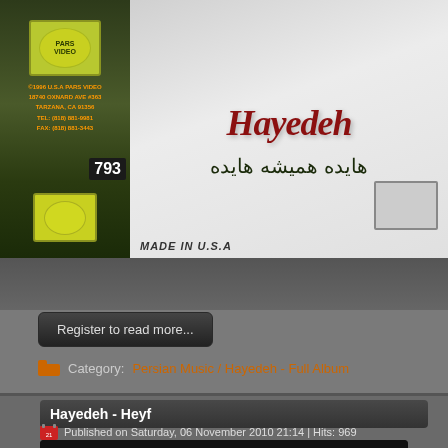[Figure (photo): Album cover for Hayedeh Persian music. Left side shows green background with logo and address text for U.S.A Pars Video, 18740 Oxnard Ave #363, Tarzana CA 91356, with number 793. Right side shows script title in cursive red/maroon letters and Arabic/Persian text 'هایده همیشه هایده' on white/grey background with 'MADE IN U.S.A' at bottom.]
Register to read more...
Category: Persian Music / Hayedeh - Full Album
Hayedeh - Heyf
Published on Saturday, 06 November 2010 21:14 | Hits: 969
User Rating:  / 0
[Figure (logo): Notha3.com website logo/banner with colorful flowers (orange, purple, red) and stylized metallic text 'NOTHA3.COM' on dark background.]